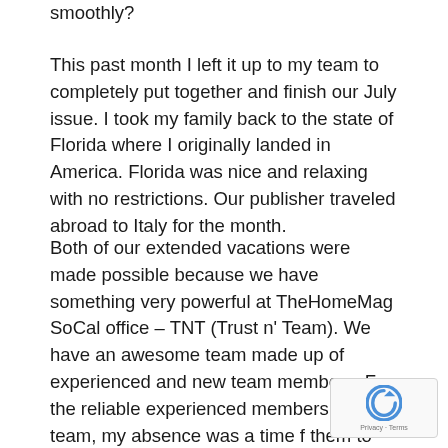smoothly?
This past month I left it up to my team to completely put together and finish our July issue. I took my family back to the state of Florida where I originally landed in America. Florida was nice and relaxing with no restrictions. Our publisher traveled abroad to Italy for the month.
Both of our extended vacations were made possible because we have something very powerful at TheHomeMag SoCal office – TNT (Trust n' Team). We have an awesome team made up of experienced and new team members. For the reliable experienced members on my team, my absence was a time for them to validate why I have trust in them. For the newer team members, my absence was a chance for